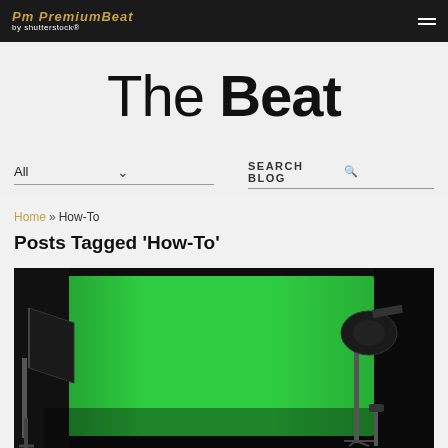PremiumBeat by shutterstock
The Beat
All  ∨  SEARCH BLOG 🔍
Home » How-To
Posts Tagged 'How-To'
[Figure (photo): Photography studio with a bright green screen background, professional lighting equipment including large softbox reflector on the left and studio lights on a stand on the right, all set against a dark background.]